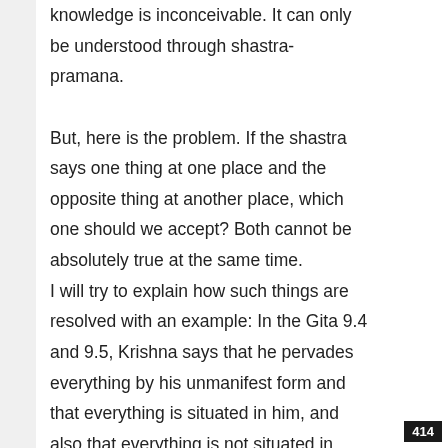knowledge is inconceivable. It can only be understood through shastra-pramana.

But, here is the problem. If the shastra says one thing at one place and the opposite thing at another place, which one should we accept? Both cannot be absolutely true at the same time. I will try to explain how such things are resolved with an example: In the Gita 9.4 and 9.5, Krishna says that he pervades everything by his unmanifest form and that everything is situated in him, and also that everything is not situated in him.
414